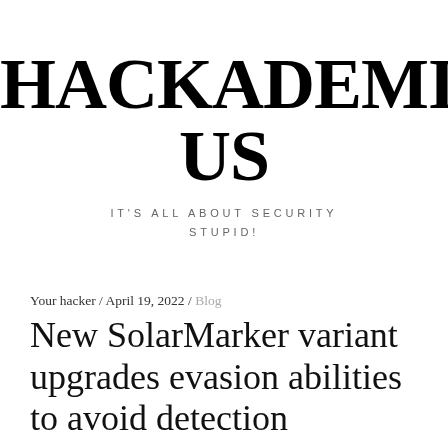HACKADEMICUS
IT'S ALL ABOUT SECURITY STUPID!
Your hacker / April 19, 2022 / Blog
New SolarMarker variant upgrades evasion abilities to avoid detection